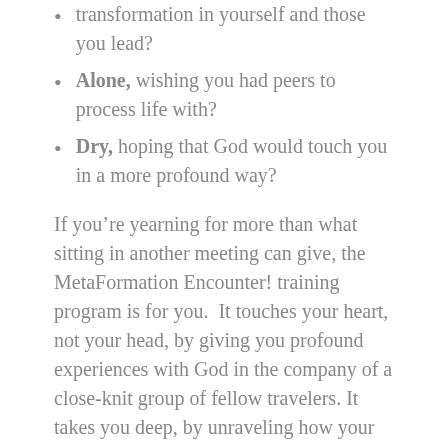Frustrated, wishing for more chances of transformation in yourself and those you lead?
Alone, wishing you had peers to process life with?
Dry, hoping that God would touch you in a more profound way?
If you’re yearning for more than what sitting in another meeting can give, the MetaFormation Encounter! training program is for you.  It touches your heart, not your head, by giving you profound experiences with God in the company of a close-knit group of fellow travelers. It takes you deep, by unraveling how your heart actually works and demonstrating how you can change through filled desire instead of willpower and discipline. And it gives you the Encounter Coaching skills to lead others on the same life-altering journey to the heart.